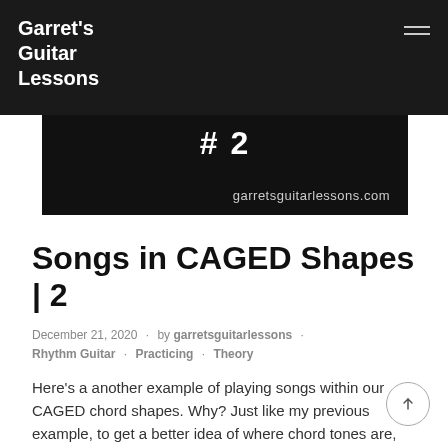Garret's Guitar Lessons
[Figure (screenshot): Black video banner showing '#2' in large text and 'garretsguitarlessons.com' in the lower right]
Songs in CAGED Shapes | 2
December 21, 2020 · by garretsguitarlessons · Rhythm Guitar · Practicing · Theory
Here's a another example of playing songs within our CAGED chord shapes. Why? Just like my previous example, to get a better idea of where chord tones are, where arpeggios will lay on top, to see things in one position instead of sliding all ov ...